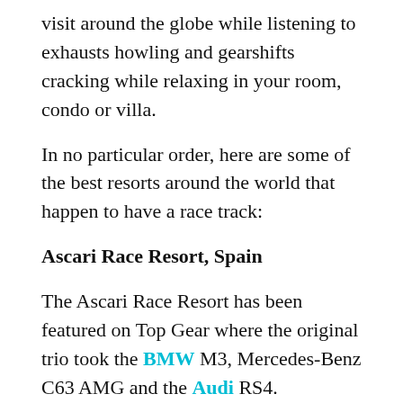visit around the globe while listening to exhausts howling and gearshifts cracking while relaxing in your room, condo or villa.
In no particular order, here are some of the best resorts around the world that happen to have a race track:
Ascari Race Resort, Spain
The Ascari Race Resort has been featured on Top Gear where the original trio took the BMW M3, Mercedes-Benz C63 AMG and the Audi RS4.
Nestled amongst the mountains in southern Spain, the infamous Ascari Race Resort is the playground of the mega-wealthy and famous, and will be one of the best